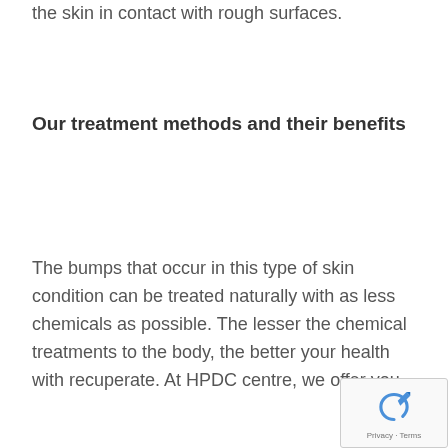the skin in contact with rough surfaces.
Our treatment methods and their benefits
The bumps that occur in this type of skin condition can be treated naturally with as less chemicals as possible. The lesser the chemical treatments to the body, the better your health with recuperate. At HPDC centre, we offer you